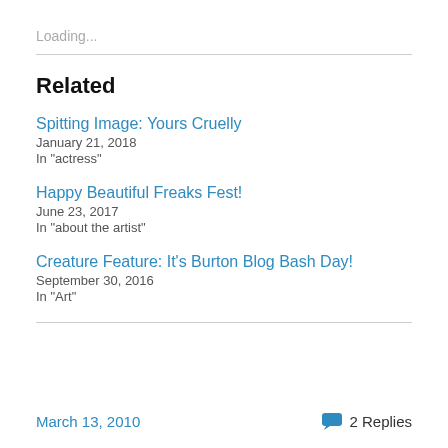Loading...
Related
Spitting Image: Yours Cruelly
January 21, 2018
In "actress"
Happy Beautiful Freaks Fest!
June 23, 2017
In "about the artist"
Creature Feature: It's Burton Blog Bash Day!
September 30, 2016
In "Art"
March 13, 2010    2 Replies